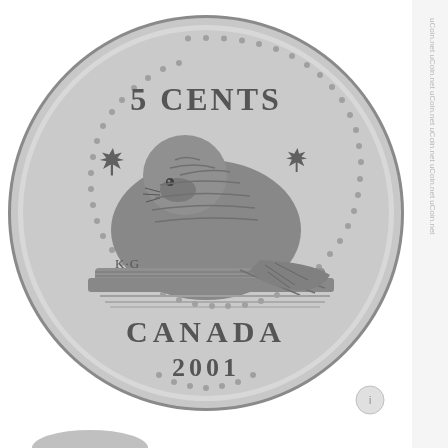[Figure (photo): Canadian 5 cent coin (nickel) reverse side showing a beaver sitting on a log in water, two maple leaves on either side, '5 CENTS' inscribed at top, 'CANADA' and '2001' at bottom, with 'K·G' initials visible, surrounded by a beaded border. Image is from uCoin.net.]